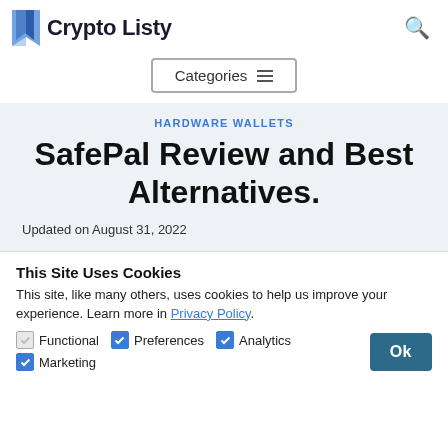Crypto Listy
Categories
HARDWARE WALLETS
SafePal Review and Best Alternatives.
Updated on August 31, 2022
This Site Uses Cookies
This site, like many others, uses cookies to help us improve your experience. Learn more in Privacy Policy.
Functional   Preferences   Analytics   Marketing